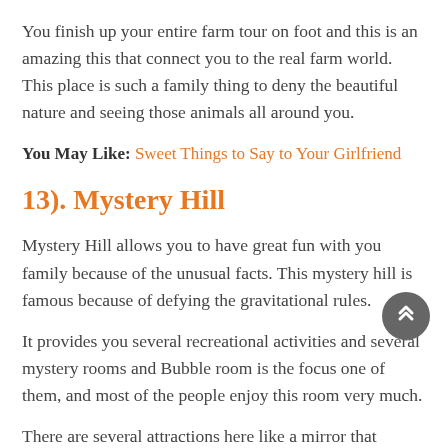You finish up your entire farm tour on foot and this is an amazing this that connect you to the real farm world. This place is such a family thing to deny the beautiful nature and seeing those animals all around you.
You May Like: Sweet Things to Say to Your Girlfriend
13). Mystery Hill
Mystery Hill allows you to have great fun with you family because of the unusual facts. This mystery hill is famous because of defying the gravitational rules.
It provides you several recreational activities and several mystery rooms and Bubble room is the focus one of them, and most of the people enjoy this room very much.
There are several attractions here like a mirror that